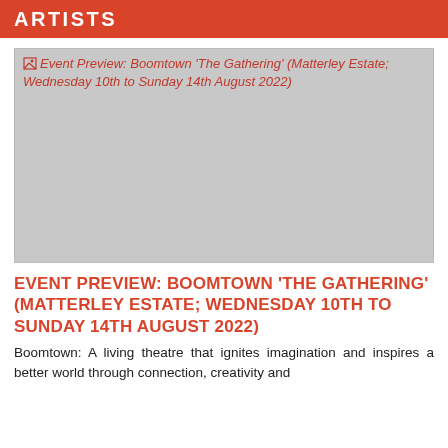ARTISTS
[Figure (photo): Broken image placeholder for Event Preview: Boomtown 'The Gathering' (Matterley Estate; Wednesday 10th to Sunday 14th August 2022)]
EVENT PREVIEW: BOOMTOWN 'THE GATHERING' (MATTERLEY ESTATE; WEDNESDAY 10TH TO SUNDAY 14TH AUGUST 2022)
Boomtown: A living theatre that ignites imagination and inspires a better world through connection, creativity and